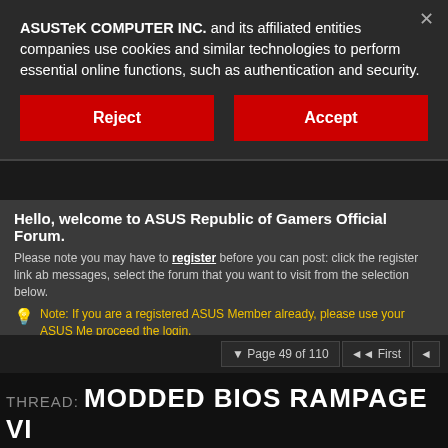ASUSTeK COMPUTER INC. and its affiliated entities companies use cookies and similar technologies to perform essential online functions, such as authentication and security.
Reject
Accept
Hello, welcome to ASUS Republic of Gamers Official Forum.
Please note you may have to register before you can post: click the register link ab messages, select the forum that you want to visit from the selection below.
Note: If you are a registered ASUS Member already, please use your ASUS Me proceed the login.
Page 49 of 110
THREAD: MODDED BIOS RAMPAGE VI
Thread T
06-02-2020 07:12 AM
GTi-6 •
Originally Posted by lint77